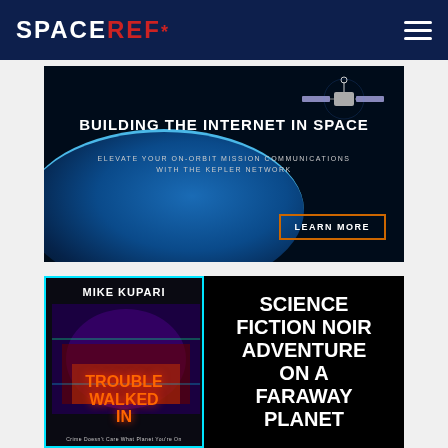SPACEREF*
[Figure (screenshot): Advertisement banner for Kepler Network: 'BUILDING THE INTERNET IN SPACE — ELEVATE YOUR ON-ORBIT MISSION COMMUNICATIONS WITH THE KEPLER NETWORK' with a LEARN MORE button, space/Earth background]
[Figure (screenshot): Advertisement for Mike Kupari's book 'Trouble Walked In' — 'SCIENCE FICTION NOIR ADVENTURE ON A FARAWAY PLANET' with book cover shown on the left]